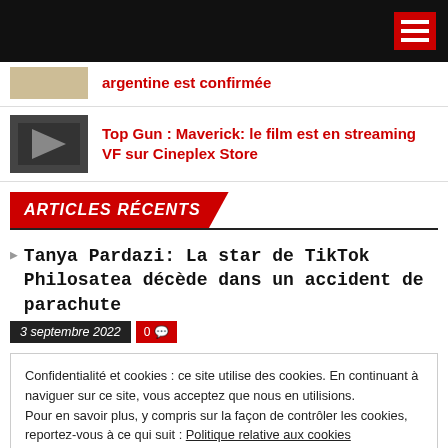Navigation bar with hamburger menu
argentine est confirmée
Top Gun : Maverick: le film est en streaming VF sur Cineplex Store
ARTICLES RÉCENTS
Tanya Pardazi: La star de TikTok Philosatea décède dans un accident de parachute
3 septembre 2022  0
Confidentialité et cookies : ce site utilise des cookies. En continuant à naviguer sur ce site, vous acceptez que nous en utilisions. Pour en savoir plus, y compris sur la façon de contrôler les cookies, reportez-vous à ce qui suit : Politique relative aux cookies
Fermer et accepter
2 septembre 2022  0